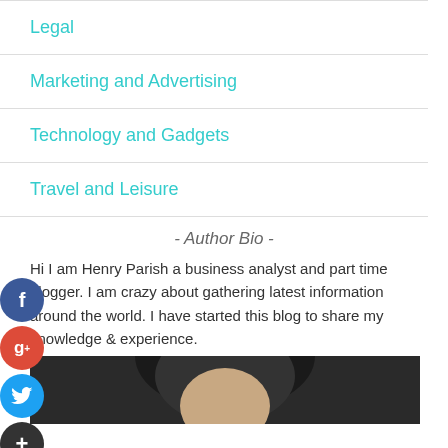Legal
Marketing and Advertising
Technology and Gadgets
Travel and Leisure
- Author Bio -
Hi I am Henry Parish a business analyst and part time blogger. I am crazy about gathering latest information around the world. I have started this blog to share my knowledge & experience.
[Figure (photo): Author photo portrait of Henry Parish, dark background]